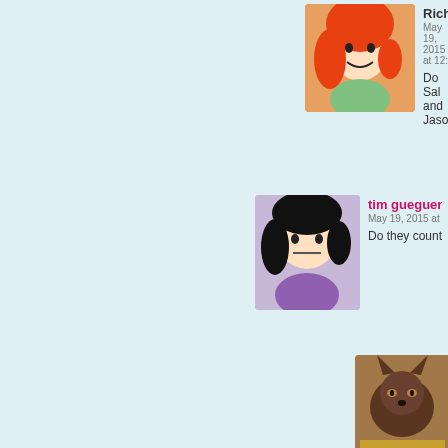[Figure (screenshot): Comment section from a website showing user comments with avatars. Five comments visible, partially cropped on right side. Background is light blue. Users: Rich, tim gueguer, DarkoNe, Rich, Ka. Dated May 19, 2015.]
Rich
May 19, 2015 at 12:
Do Sal and Jason
tim gueguer
May 19, 2015 at
Do they count
DarkoNe
May 19, 201
...nooope.
Rich
May 19,
So, the
Ka
May
Or